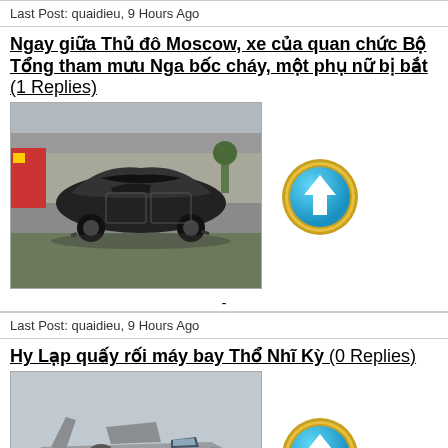Last Post: quaidieu, 9 Hours Ago
Ngay giữa Thủ đô Moscow, xe của quan chức Bộ Tổng tham mưu Nga bốc cháy, một phụ nữ bị bắt (1 Replies)
[Figure (photo): Burned/wrecked car on roadside, charred black vehicle]
Last Post: quaidieu, 9 Hours Ago
Hy Lạp quấy rối máy bay Thổ Nhĩ Kỳ (0 Replies)
[Figure (photo): Military jet fighter aircraft on tarmac with ground crew]